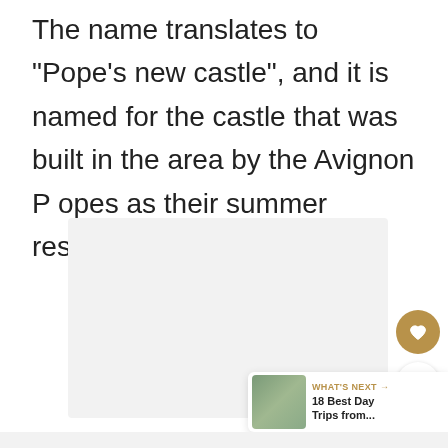The name translates to "Pope's new castle", and it is named for the castle that was built in the area by the Avignon Popes as their summer residence.
[Figure (photo): A light gray rectangular placeholder image area, partially visible, showing a travel destination photo]
[Figure (other): UI overlay with heart (favorite) button in gold/brown, share button in white, and a 'WHAT'S NEXT' card showing '18 Best Day Trips from...' with a thumbnail photo]